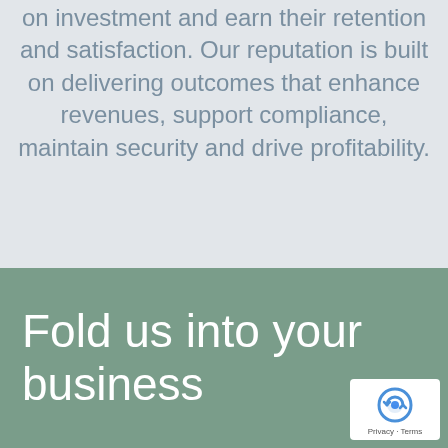on investment and earn their retention and satisfaction. Our reputation is built on delivering outcomes that enhance revenues, support compliance, maintain security and drive profitability.
Fold us into your business